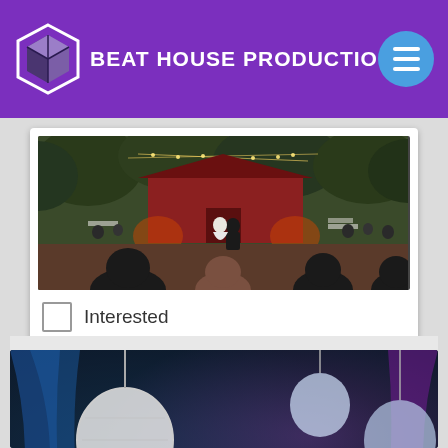BEAT HOUSE PRODUCTIONS
[Figure (photo): Outdoor wedding reception with guests seated, couple dancing in front of a red barn with string lights, surrounded by trees]
Interested
[Figure (photo): Event venue with blue and purple lighting, decorative paper lanterns, and text overlay reading Birthdays, Formals, & Corporate]